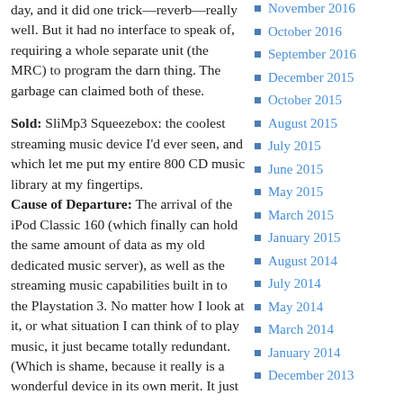day, and it did one trick—reverb—really well. But it had no interface to speak of, requiring a whole separate unit (the MRC) to program the darn thing. The garbage can claimed both of these.
Sold: SliMp3 Squeezebox: the coolest streaming music device I'd ever seen, and which let me put my entire 800 CD music library at my fingertips. Cause of Departure: The arrival of the iPod Classic 160 (which finally can hold the same amount of data as my old dedicated music server), as well as the streaming music capabilities built in to the Playstation 3. No matter how I look at it, or what situation I can think of to play music, it just became totally redundant. (Which is shame, because it really is a wonderful device in its own merit. It just no
November 2016
October 2016
September 2016
December 2015
October 2015
August 2015
July 2015
June 2015
May 2015
March 2015
January 2015
August 2014
July 2014
May 2014
March 2014
January 2014
December 2013